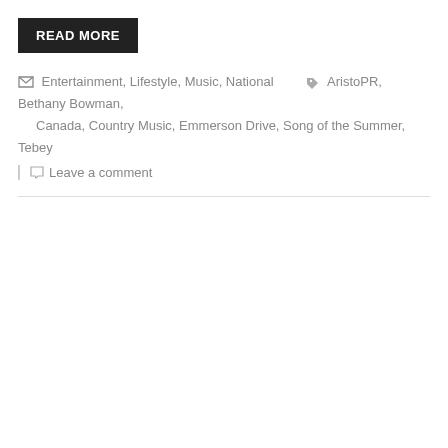READ MORE
Entertainment, Lifestyle, Music, National   AristoPR, Bethany Bowman, Canada, Country Music, Emmerson Drive, Song of the Summer, Tebey
Leave a comment